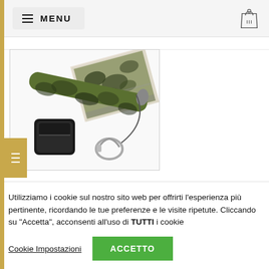≡ MENU
[Figure (photo): Camouflage telescopic baton/stick with black pouch and carabiner clip, alongside product packaging box]
Utilizziamo i cookie sul nostro sito web per offrirti l'esperienza più pertinente, ricordando le tue preferenze e le visite ripetute. Cliccando su "Accetta", acconsenti all'uso di TUTTI i cookie
Cookie Impostazioni   ACCETTO